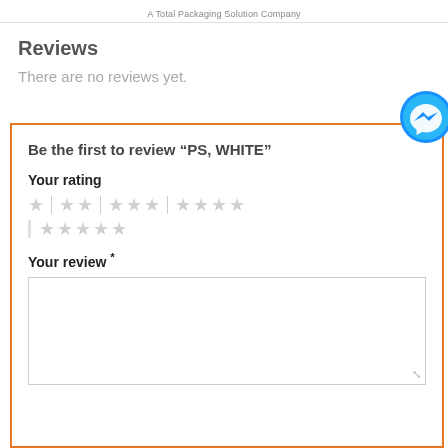A Total Packaging Solution Company
Reviews
There are no reviews yet.
Be the first to review “PS, WHITE”
Your rating
[Figure (other): Star rating selector with 5 groups: 1 star, 2 stars, 3 stars, 4 stars (row 1), and 5 stars (row 2), all unselected (gray)]
Your review *
[Figure (other): Empty text area for review input]